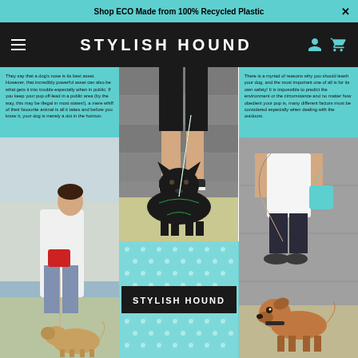Shop ECO Made from 100% Recycled Plastic
STYLISH HOUND
They say that a dog's nose is its best asset. However, that incredibly powerful asset can also be what gets it into trouble especially when in public. If you keep your pup off-lead in a public area (by the way, this may be illegal in most states!), a mere whiff of their favourite animal is all it takes and before you know it, your dog is merely a dot in the horizon.
[Figure (photo): Woman walking a golden retriever dog, carrying a red bag, near waterfront]
[Figure (photo): Black German Shepherd dog sitting with person holding green and white leash]
[Figure (logo): Stylish Hound logo on black box over teal polka dot background]
There is a myriad of reasons why you should leash your dog, and the most important one of all is for its own safety! It is impossible to predict the environment or the circumstance and no matter how obedient your pup is, many different factors must be considered especially when dealing with the outdoors.
[Figure (photo): Person in white shirt holding leash with brown dog looking up, teal bag visible]